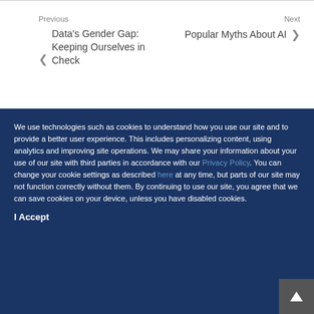Previous
Data's Gender Gap: Keeping Ourselves in Check
Next
Popular Myths About AI
We use technologies such as cookies to understand how you use our site and to provide a better user experience. This includes personalizing content, using analytics and improving site operations. We may share your information about your use of our site with third parties in accordance with our Privacy Policy. You can change your cookie settings as described here at any time, but parts of our site may not function correctly without them. By continuing to use our site, you agree that we can save cookies on your device, unless you have disabled cookies.
I Accept